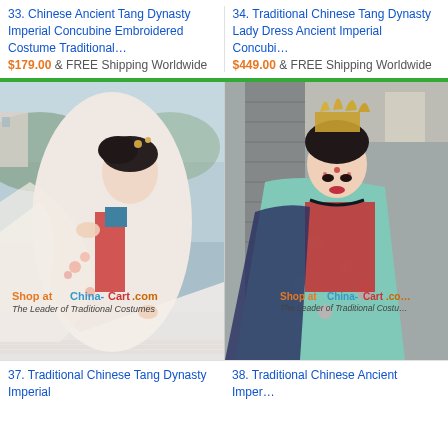33. Chinese Ancient Tang Dynasty Imperial Concubine Embroidered Costume Traditional… $179.00 & FREE Shipping Worldwide
34. Traditional Chinese Tang Dynasty Lady Dress Ancient Imperial Concubi… $449.00 & FREE Shipping Worldwide
[Figure (photo): Woman wearing white/pink traditional Chinese Tang Dynasty embroidered hanfu costume holding veil near water, with watermark Shop at China-Cart.com]
[Figure (photo): Woman wearing colorful traditional Chinese Tang Dynasty imperial costume with golden headdress, red and teal garments, with watermark Shop at China-Cart.com]
37. Traditional Chinese Tang Dynasty Imperial
38. Traditional Chinese Ancient Imper…